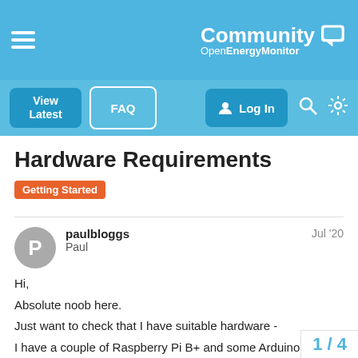Community OpenEnergyMonitor — navigation bar with View Latest, FAQ, Log In, Search, Settings
Hardware Requirements
Getting Started
paulbloggs Paul  Jul '20
Hi,
Absolute noob here.
Just want to check that I have suitable hardware -
I have a couple of Raspberry Pi B+ and some Arduino Uno and Mega boards lying around. Can I make do with these or do I have to get the emonpi shield etc?

Initially I would like to measure and log the consumption of each phase of my 3 phase home supply. At a lat
RV too and all the other fun stuff.
1 / 4